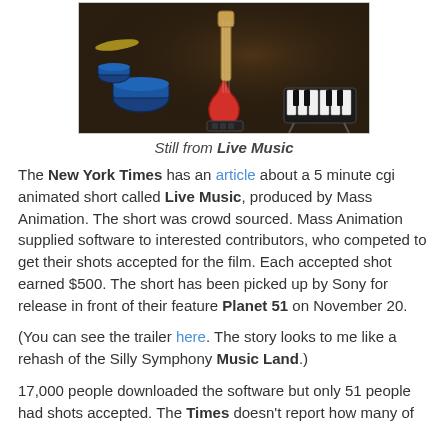[Figure (photo): Still image from animated short 'Live Music' showing musical instruments including a guitar, drum kit, and keyboard on a dark stage]
Still from Live Music
The New York Times has an article about a 5 minute cgi animated short called Live Music, produced by Mass Animation. The short was crowd sourced. Mass Animation supplied software to interested contributors, who competed to get their shots accepted for the film. Each accepted shot earned $500. The short has been picked up by Sony for release in front of their feature Planet 51 on November 20.
(You can see the trailer here. The story looks to me like a rehash of the Silly Symphony Music Land.)
17,000 people downloaded the software but only 51 people had shots accepted. The Times doesn't report how many of